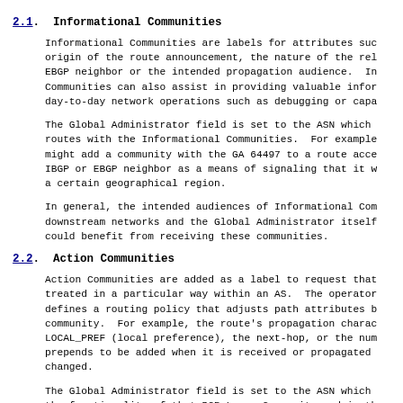2.1. Informational Communities
Informational Communities are labels for attributes such as origin of the route announcement, the nature of the relationship with the EBGP neighbor or the intended propagation audience. Informational Communities can also assist in providing valuable information for day-to-day network operations such as debugging or capacity planning.
The Global Administrator field is set to the ASN which tags the routes with the Informational Communities. For example, a network operator might add a community with the GA 64497 to a route accepted from an IBGP or EBGP neighbor as a means of signaling that it was received within a certain geographical region.
In general, the intended audiences of Informational Communities are downstream networks and the Global Administrator itself if they could benefit from receiving these communities.
2.2. Action Communities
Action Communities are added as a label to request that routes are treated in a particular way within an AS. The operator of the AS defines a routing policy that adjusts path attributes based on the community. For example, the route's propagation characteristics, the LOCAL_PREF (local preference), the next-hop, or the number of AS-path prepends to be added when it is received or propagated to a peer can be changed.
The Global Administrator field is set to the ASN which defines the functionality of that BGP Large Community and is the network...